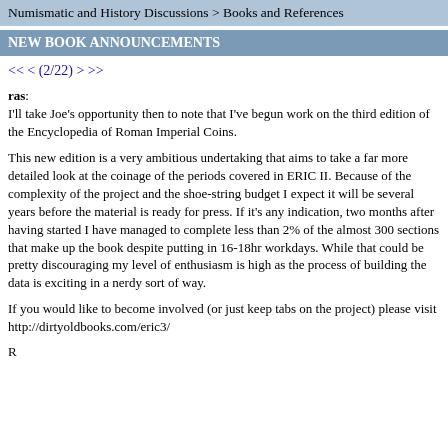Numismatic and History Discussions > Books and References
NEW BOOK ANNOUNCEMENTS
<< < (2/22) > >>
ras:
I'll take Joe's opportunity then to note that I've begun work on the third edition of the Encyclopedia of Roman Imperial Coins.
This new edition is a very ambitious undertaking that aims to take a far more detailed look at the coinage of the periods covered in ERIC II. Because of the complexity of the project and the shoe-string budget I expect it will be several years before the material is ready for press. If it's any indication, two months after having started I have managed to complete less than 2% of the almost 300 sections that make up the book despite putting in 16-18hr workdays. While that could be pretty discouraging my level of enthusiasm is high as the process of building the data is exciting in a nerdy sort of way.
If you would like to become involved (or just keep tabs on the project) please visit http://dirtyoldbooks.com/eric3/
R